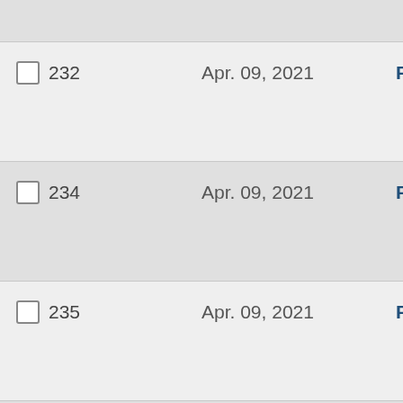|  | Date | Action |
| --- | --- | --- |
| 232 | Apr. 09, 2021 | Request |
| 234 | Apr. 09, 2021 | Request |
| 235 | Apr. 09, 2021 | Request |
| 236 | Apr. 10, 2021 | Request |